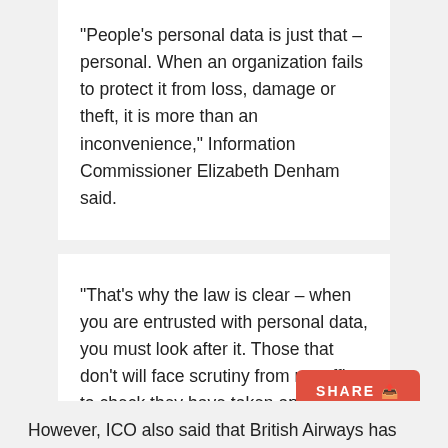"People's personal data is just that – personal. When an organization fails to protect it from loss, damage or theft, it is more than an inconvenience," Information Commissioner Elizabeth Denham said.
"That's why the law is clear – when you are entrusted with personal data, you must look after it. Those that don't will face scrutiny from my office to check they have taken appropriate steps to protect fundamental privacy rights."
However, ICO also said that British Airways has